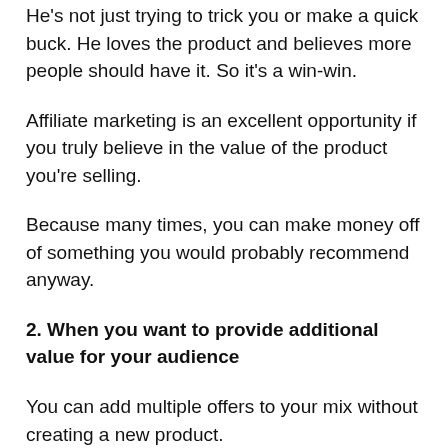He's not just trying to trick you or make a quick buck. He loves the product and believes more people should have it. So it's a win-win.
Affiliate marketing is an excellent opportunity if you truly believe in the value of the product you're selling.
Because many times, you can make money off of something you would probably recommend anyway.
2. When you want to provide additional value for your audience
You can add multiple offers to your mix without creating a new product.
This could include a bonus on something you already use or